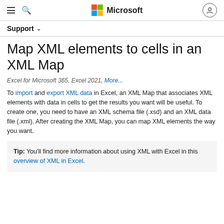Microsoft Support
Support
Map XML elements to cells in an XML Map
Excel for Microsoft 365, Excel 2021, More...
To import and export XML data in Excel, an XML Map that associates XML elements with data in cells to get the results you want will be useful. To create one, you need to have an XML schema file (.xsd) and an XML data file (.xml). After creating the XML Map, you can map XML elements the way you want.
Tip: You'll find more information about using XML with Excel in this overview of XML in Excel.